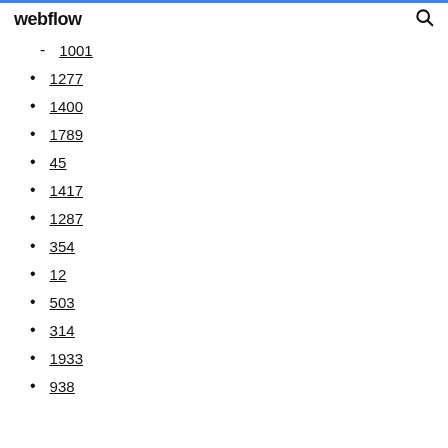webflow
1001
1277
1400
1789
45
1417
1287
354
12
503
314
1933
938